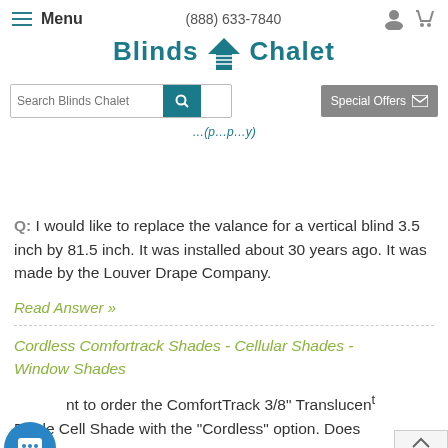Menu | (888) 633-7840 | Blinds Chalet | Search Blinds Chalet | Special Offers
(partial navigation link)
Q: I would like to replace the valance for a vertical blind 3.5 inch by 81.5 inch. It was installed about 30 years ago. It was made by the Louver Drape Company.
Read Answer »
Cordless Comfortrack Shades - Cellular Shades - Window Shades
nt to order the ComfortTrack 3/8" Translucent Double Cell Shade with the "Cordless" option. Does it it the bottom of the blind...